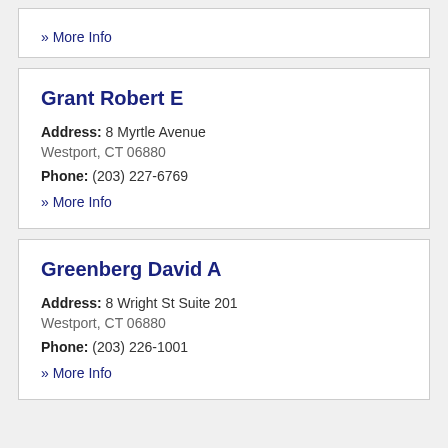» More Info
Grant Robert E
Address: 8 Myrtle Avenue
Westport, CT 06880
Phone: (203) 227-6769
» More Info
Greenberg David A
Address: 8 Wright St Suite 201
Westport, CT 06880
Phone: (203) 226-1001
» More Info